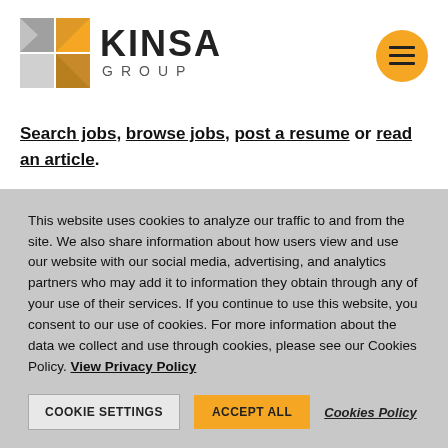[Figure (logo): Kinsa Group logo with geometric K shape in grey and yellow/orange, text 'KINSA GROUP']
Search jobs, browse jobs, post a resume or read an article.
Don't Delay
This website uses cookies to analyze our traffic to and from the site. We also share information about how users view and use our website with our social media, advertising, and analytics partners who may add it to information they obtain through any of your use of their services. If you continue to use this website, you consent to our use of cookies. For more information about the data we collect and use through cookies, please see our Cookies Policy. View Privacy Policy
COOKIE SETTINGS   ACCEPT ALL   Cookies Policy